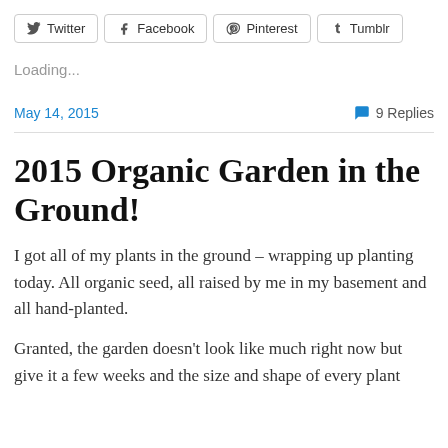[Figure (other): Social sharing buttons: Twitter, Facebook, Pinterest, Tumblr]
Loading...
May 14, 2015
9 Replies
2015 Organic Garden in the Ground!
I got all of my plants in the ground – wrapping up planting today.  All organic seed, all raised by me in my basement and all hand-planted.
Granted, the garden doesn't look like much right now but give it a few weeks and the size and shape of every plant